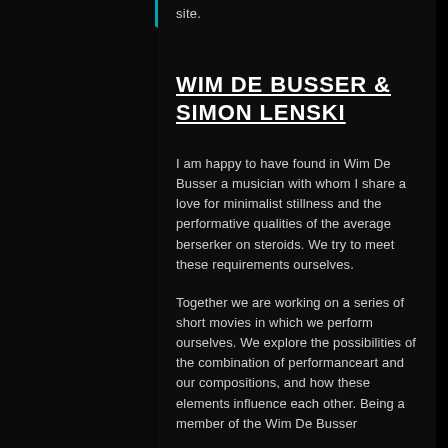site.
WIM DE BUSSER & SIMON LENSKI
I am happy to have found in Wim De Busser a musician with whom I share a love for minimalist stillness and the performative qualities of the average berserker on steroids. We try to meet these requirements ourselves.
Together we are working on a series of short movies in which we perform ourselves. We explore the possibilities of the combination of performanceart and our compositions, and how these elements influence each other. Being a member of the Wim De Busser